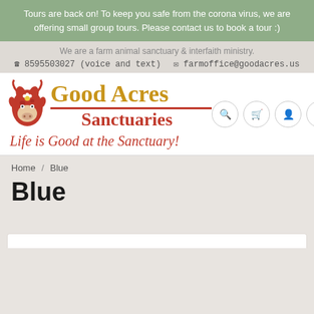Tours are back on! To keep you safe from the corona virus, we are offering small group tours. Please contact us to book a tour :)
We are a farm animal sanctuary & interfaith ministry.
8595503027 (voice and text)   farmoffice@goodacres.us
[Figure (logo): Good Acres Sanctuaries logo with red cow illustration, gold 'Good Acres' text, red 'Sanctuaries' text, red divider line, and red cursive slogan 'Life is Good at the Sanctuary!']
Home / Blue
Blue